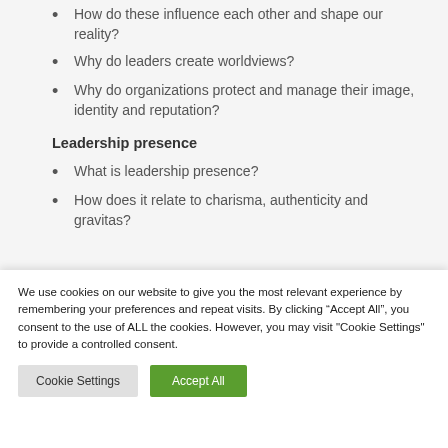How do these influence each other and shape our reality?
Why do leaders create worldviews?
Why do organizations protect and manage their image, identity and reputation?
Leadership presence
What is leadership presence?
How does it relate to charisma, authenticity and gravitas?
We use cookies on our website to give you the most relevant experience by remembering your preferences and repeat visits. By clicking “Accept All”, you consent to the use of ALL the cookies. However, you may visit "Cookie Settings" to provide a controlled consent.